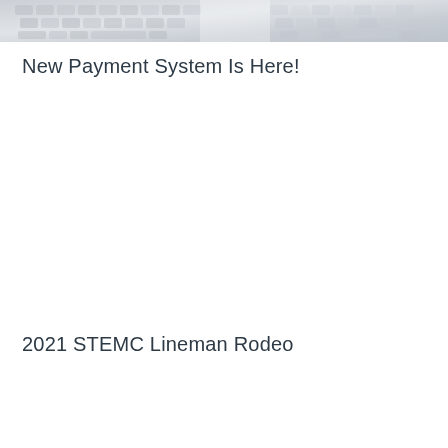[Figure (photo): Top banner image showing a keyboard or calculator, light gray tones, partially cropped]
New Payment System Is Here!
2021 STEMC Lineman Rodeo